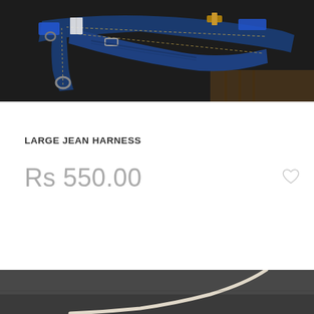[Figure (photo): A denim/jean pet harness with blue fabric and metal hardware, displayed on a dark background]
LARGE JEAN HARNESS
Rs 550.00
[Figure (photo): Partial view of another product on a dark gray background, appears to be a cord or leash]